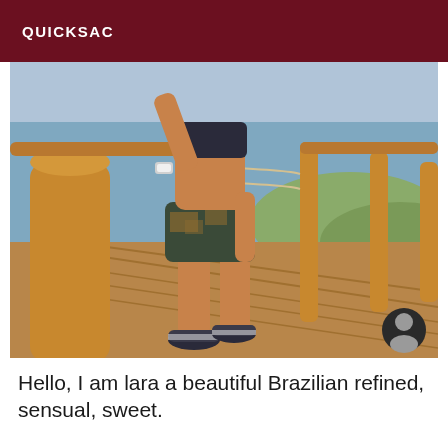QUICKSAC
[Figure (photo): A woman standing on a wooden boardwalk/bridge with wooden railing posts and rope railings. She is wearing patterned athletic shorts, a sports bra top, and dark sneakers with white soles. She has a tanned, athletic build and is posing with one hand raised to the railing. The background shows water and coastal vegetation.]
Hello, I am lara a beautiful Brazilian refined, sensual, sweet.